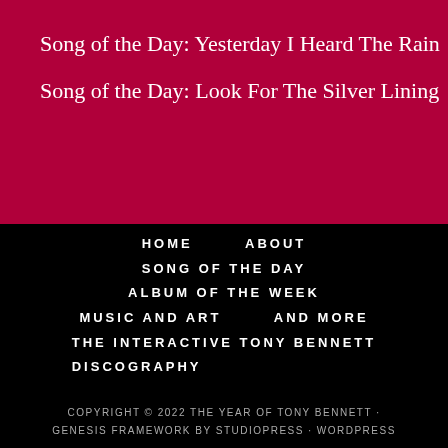Song of the Day: Yesterday I Heard The Rain
Song of the Day: Look For The Silver Lining
HOME   ABOUT
SONG OF THE DAY
ALBUM OF THE WEEK
MUSIC AND ART   AND MORE
THE INTERACTIVE TONY BENNETT DISCOGRAPHY
COPYRIGHT © 2022 THE YEAR OF TONY BENNETT · GENESIS FRAMEWORK BY STUDIOPRESS · WORDPRESS